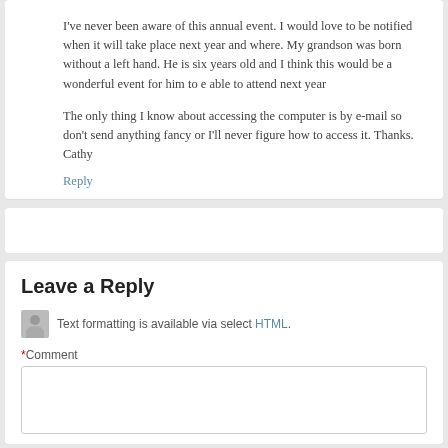I've never been aware of this annual event. I would love to be notified when it will take place next year and where. My grandson was born without a left hand. He is six years old and I think this would be a wonderful event for him to e able to attend next year
The only thing I know about accessing the computer is by e-mail so don't send anything fancy or I'll never figure how to access it. Thanks. Cathy
Reply
Leave a Reply
Text formatting is available via select HTML.
*Comment